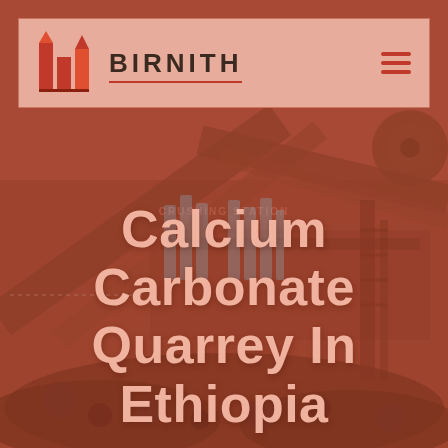[Figure (photo): Industrial quarry crushing station machinery with conveyor belts, shown with reddish-brown overlay tint. Heavy equipment for stone crushing operations.]
BIRNITH
Calcium Carbonate Quarrey In Ethiopia